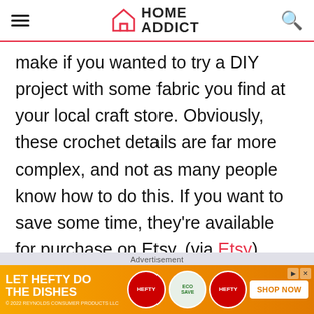HOME ADDICT
make if you wanted to try a DIY project with some fabric you find at your local craft store. Obviously, these crochet details are far more complex, and not as many people know how to do this. If you want to save some time, they're available for purchase on Etsy. (via Etsy)
[Figure (screenshot): Advertisement banner for Hefty dishware products with text 'LET HEFTY DO THE DISHES' and 'SHOP NOW' button on orange background]